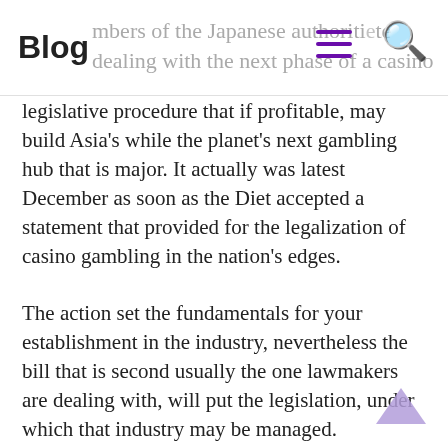Blog | members of the Japanese authorities dealing with the next phase of a casino
legislative procedure that if profitable, may build Asia's while the planet's next gambling hub that is major. It actually was latest December as soon as the Diet accepted a statement that provided for the legalization of casino gambling in the nation's edges.
The action set the fundamentals for your establishment in the industry, nevertheless the bill that is second usually the one lawmakers are dealing with, will put the legislation, under which that industry may be managed.
Taxation will undoubtedly getting one cool cat casino $100 no deposit bonus codes of many information discussed by the particularly